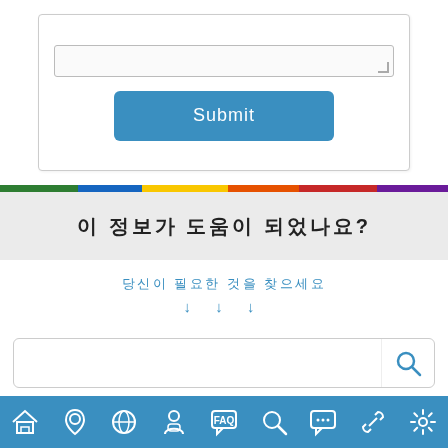[Figure (screenshot): Web form with a text area stub and a blue Submit button inside a bordered box]
[Figure (infographic): Rainbow colored horizontal bar divider with segments: green, blue, yellow, orange, red, purple]
이 정보가 도움이 되었나요?
당신이 필요한 것을 찾으세요
↓ ↓ ↓
[Figure (screenshot): Search bar with a magnifying glass icon on the right]
[Figure (infographic): Blue navigation bar with icons: home, location pin, globe, person with mask, FAQ speech bubble, magnifying glass, chat bubble, link/chain, settings gear]